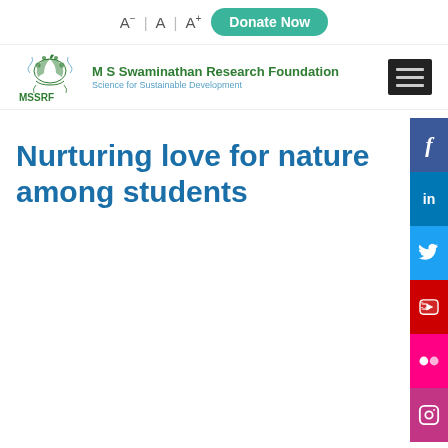A- | A | A+ Donate Now
[Figure (logo): MSSRF logo with decorative plant/leaf motif and text 'M S Swaminathan Research Foundation - Science for Sustainable Development']
[Figure (other): Hamburger menu icon (three horizontal lines on dark background)]
[Figure (infographic): Social media sidebar icons: Facebook, LinkedIn, Twitter, YouTube, Flickr, Instagram]
Nurturing love for nature among students